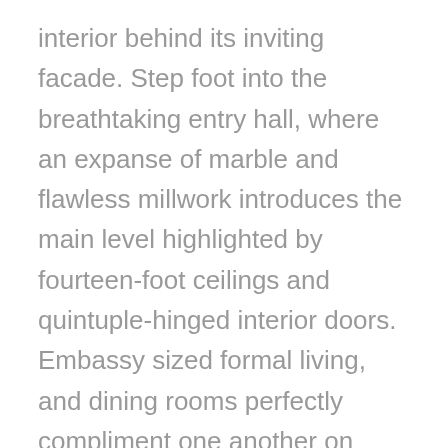interior behind its inviting facade. Step foot into the breathtaking entry hall, where an expanse of marble and flawless millwork introduces the main level highlighted by fourteen-foot ceilings and quintuple-hinged interior doors. Embassy sized formal living, and dining rooms perfectly compliment one another on both sides of the reception area, flowing seamlessly into the home's informal spaces. The gourmet kitchen will delight any chef, with its full suite of Sub-Zero and Wolf appliances, twin marble islands, and an intimate breakfast nook opening to a coffered-ceiling family room with a gas fireplace, custom built-ins, and French doors leading to